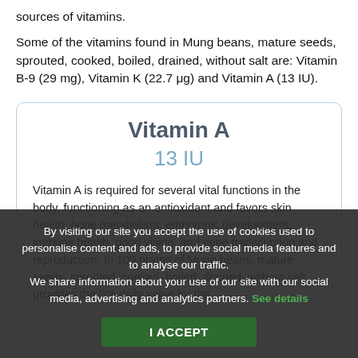sources of vitamins.
Some of the vitamins found in Mung beans, mature seeds, sprouted, cooked, boiled, drained, without salt are: Vitamin B-9 (29 mg), Vitamin K (22.7 μg) and Vitamin A (13 IU).
Vitamin A
13 IU
Vitamin A is required for several vital functions in the body, functioning as an antioxidant and favors skin health, bone metabolism, embryonic development, immune health, good vision, and gene transcription and reproduction. In 100 grams of Mung beans, mature seeds, sprouted, cooked, boiled, drained, without salt provides the 0% daily value for the
By visiting our site you accept the use of cookies used to personalise content and ads, to provide social media features and to analyse our traffic.
We share information about your use of our site with our social media, advertising and analytics partners. See details
I ACCEPT